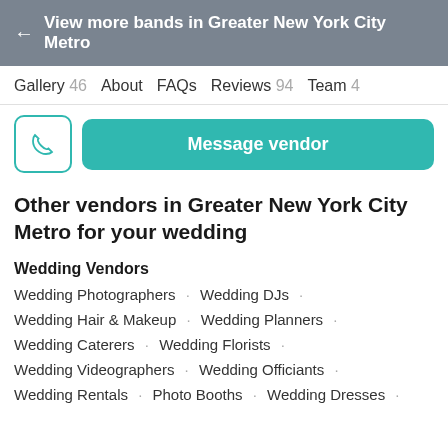← View more bands in Greater New York City Metro
Gallery 46   About   FAQs   Reviews 94   Team 4
[Figure (screenshot): Phone icon button and teal 'Message vendor' button]
Other vendors in Greater New York City Metro for your wedding
Wedding Vendors
Wedding Photographers · Wedding DJs ·
Wedding Hair & Makeup · Wedding Planners ·
Wedding Caterers · Wedding Florists ·
Wedding Videographers · Wedding Officiants ·
Wedding Rentals · Photo Booths · Wedding Dresses ·